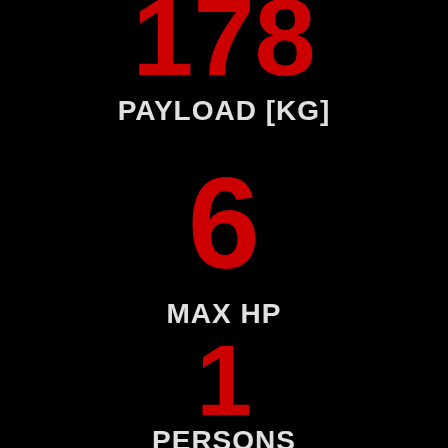178
PAYLOAD [KG]
6
MAX HP
1
PERSONS